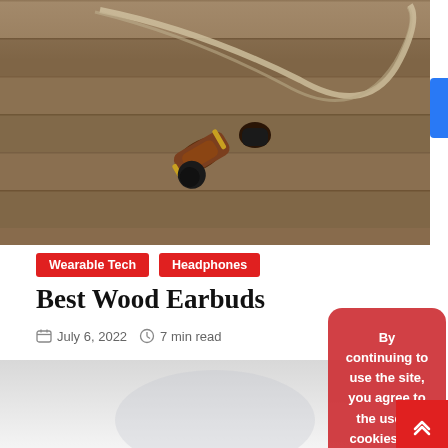[Figure (photo): Close-up photo of wooden earbuds with cable on a wooden surface]
Wearable Tech
Headphones
Best Wood Earbuds
July 6, 2022  7 min read
[Figure (photo): Bottom partial image, light grey/white background]
By continuing to use the site, you agree to the use of cookies and tracking. more information
Accept